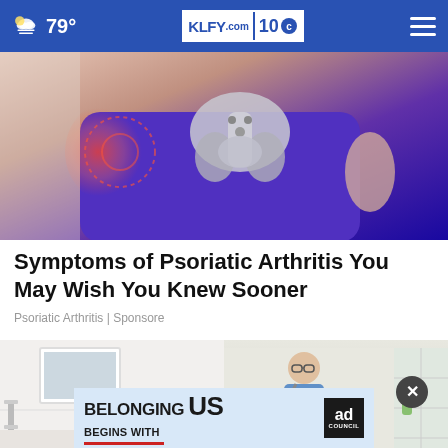79° KLFY.com 10
[Figure (photo): Medical illustration showing hip/pelvis joint anatomy with red pain indicators on a person wearing blue leggings]
Symptoms of Psoriatic Arthritis You May Wish You Knew Sooner
Psoriatic Arthritis | Sponsore
[Figure (photo): Split image: left side shows a bathroom interior, right side shows an elderly man with a bag. An advertisement banner overlays the bottom: 'Belonging Begins With US' with Ad Council logo.]